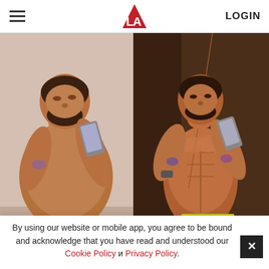LOGIN
[Figure (photo): Before and after fitness transformation photos: left side shows a heavier man taking a shirtless mirror selfie; right side shows the same man with a muscular, lean physique taking a shirtless mirror selfie wearing yellow underwear]
DON'T WISH. START DOING!
START NOW
By using our website or mobile app, you agree to be bound and acknowledge that you have read and understood our Cookie Policy и Privacy Policy.